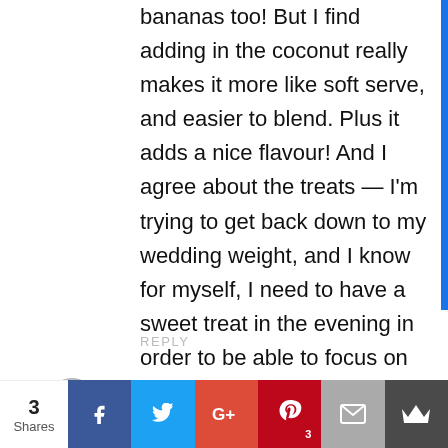bananas too! But I find adding in the coconut really makes it more like soft serve, and easier to blend. Plus it adds a nice flavour! And I agree about the treats — I'm trying to get back down to my wedding weight, and I know for myself, I need to have a sweet treat in the evening in order to be able to focus on losing the weight the rest of the day. So healthy 'nice cream' it is!
REPLY
3 Shares